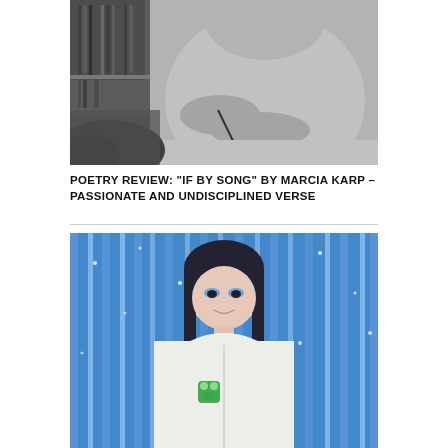[Figure (photo): Black and white photograph of a person writing at a desk with bookshelves in the background]
POETRY REVIEW: “IF BY SONG” BY MARCIA KARP – PASSIONATE AND UNDISCIPLINED VERSE
[Figure (photo): Color photograph of a young woman with dark hair and bangs wearing a white hoodie, standing in front of a blue sparkly curtain backdrop]